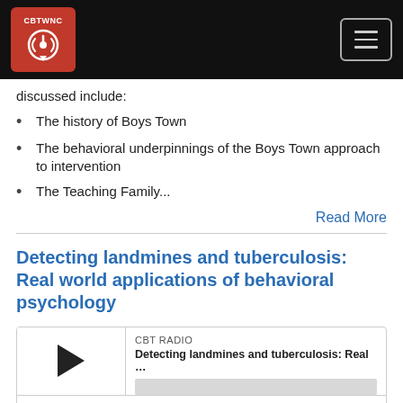CBTWNC
discussed include:
The history of Boys Town
The behavioral underpinnings of the Boys Town approach to intervention
The Teaching Family...
Read More
Detecting landmines and tuberculosis: Real world applications of behavioral psychology
[Figure (other): Audio player widget showing CBT RADIO label, play button triangle, title 'Detecting landmines and tuberculosis: Real ...', progress bar, time 00:00:00, and controls for RSS, download, embed, and subscription]
Apr 7, 2011